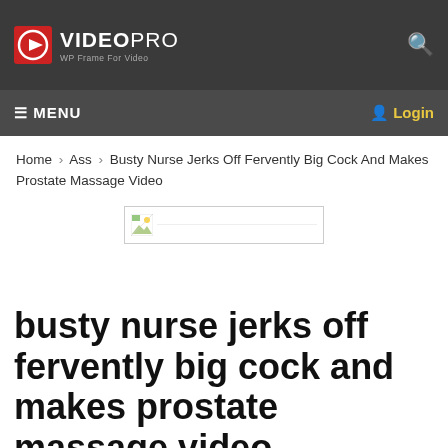VIDEO PRO — WP Frame For Video
≡ MENU   Login
Home > Ass > Busty Nurse Jerks Off Fervently Big Cock And Makes Prostate Massage Video
[Figure (other): Broken image placeholder thumbnail]
busty nurse jerks off fervently big cock and makes prostate massage video